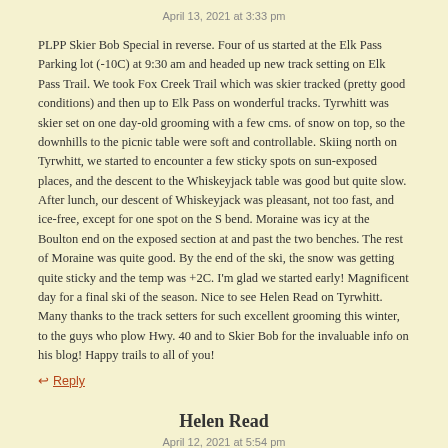April 13, 2021 at 3:33 pm
PLPP Skier Bob Special in reverse. Four of us started at the Elk Pass Parking lot (-10C) at 9:30 am and headed up new track setting on Elk Pass Trail. We took Fox Creek Trail which was skier tracked (pretty good conditions) and then up to Elk Pass on wonderful tracks. Tyrwhitt was skier set on one day-old grooming with a few cms. of snow on top, so the downhills to the picnic table were soft and controllable. Skiing north on Tyrwhitt, we started to encounter a few sticky spots on sun-exposed places, and the descent to the Whiskeyjack table was good but quite slow. After lunch, our descent of Whiskeyjack was pleasant, not too fast, and ice-free, except for one spot on the S bend. Moraine was icy at the Boulton end on the exposed section at and past the two benches. The rest of Moraine was quite good. By the end of the ski, the snow was getting quite sticky and the temp was +2C. I'm glad we started early! Magnificent day for a final ski of the season. Nice to see Helen Read on Tyrwhitt. Many thanks to the track setters for such excellent grooming this winter, to the guys who plow Hwy. 40 and to Skier Bob for the invaluable info on his blog! Happy trails to all of you!
↩ Reply
Helen Read
April 12, 2021 at 5:54 pm